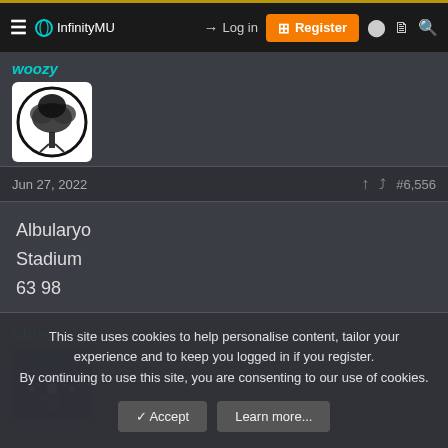InfinityMU — Log in | Register
woozy
[Figure (photo): Avatar image of user woozy: black and white illustration of a tree inside a circle]
Jun 27, 2022   #6,556
Albularyo
Stadium
63 98
Chrisss
[Figure (photo): Avatar image of user Chrisss: fantasy scene with lights and magical atmosphere]
This site uses cookies to help personalise content, tailor your experience and to keep you logged in if you register.
By continuing to use this site, you are consenting to our use of cookies.
Accept   Learn more...